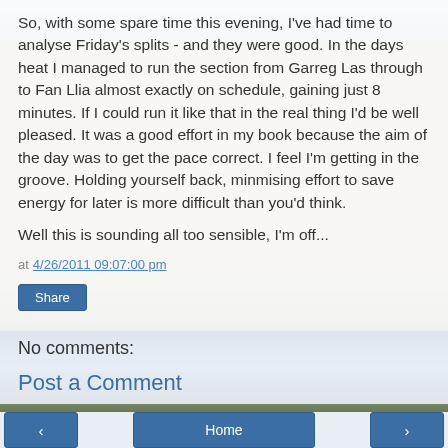So, with some spare time this evening, I've had time to analyse Friday's splits - and they were good. In the days heat I managed to run the section from Garreg Las through to Fan Llia almost exactly on schedule, gaining just 8 minutes. If I could run it like that in the real thing I'd be well pleased. It was a good effort in my book because the aim of the day was to get the pace correct. I feel I'm getting in the groove. Holding yourself back, minmising effort to save energy for later is more difficult than you'd think.
Well this is sounding all too sensible, I'm off...
at 4/26/2011 09:07:00 pm
Share
No comments:
Post a Comment
◄  Home  ►